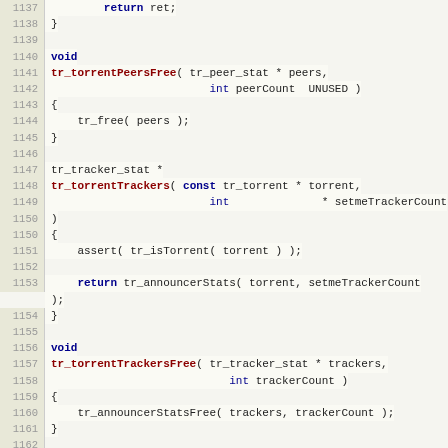[Figure (screenshot): Source code listing in C, lines 1137-1167, showing functions tr_torrentPeersFree, tr_torrentTrackers, tr_torrentTrackersFree, and tr_torrentAvailability with line numbers on the left in a monospace code editor style.]